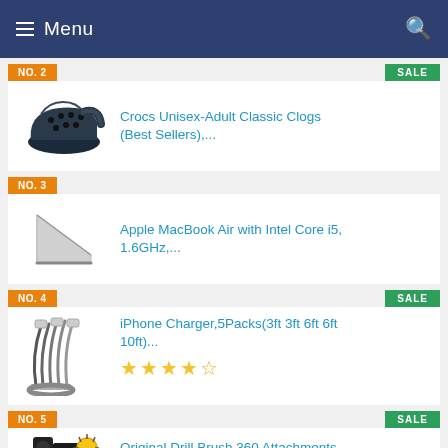Menu
NO. 2 | SALE
Crocs Unisex-Adult Classic Clogs (Best Sellers),...
NO. 3
Apple MacBook Air with Intel Core i5, 1.6GHz,...
NO. 4 | SALE
iPhone Charger,5Packs(3ft 3ft 6ft 6ft 10ft)...
NO. 5 | SALE
Original Drill Brush 360 Attachments